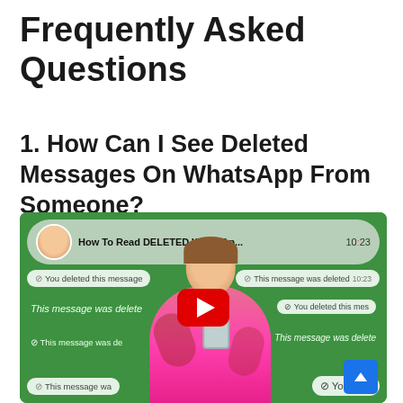Frequently Asked Questions
1. How Can I See Deleted Messages On WhatsApp From Someone?
[Figure (screenshot): YouTube video thumbnail showing a WhatsApp conversation with 'This message was deleted' notifications. A woman is shown holding a phone with her mouth covered by the YouTube play button. The video is titled 'How To Read DELETED WhatsAp...' with timestamp 10:23.]